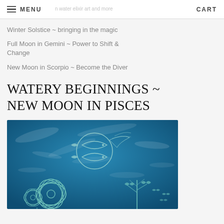MENU   CART
Winter Solstice ~ bringing in the magic
Full Moon in Gemini ~ Power to Shift & Change
New Moon in Scorpio ~ Become the Diver
WATERY BEGINNINGS ~ NEW MOON IN PISCES
[Figure (illustration): Blue ocean-themed artwork with Pisces fish symbol, floral motifs, butterfly tree patterns in teal on a textured deep blue background]